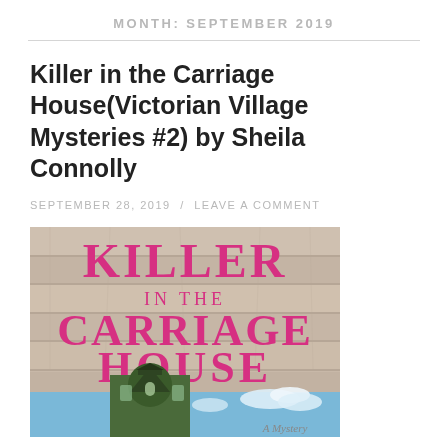MONTH: SEPTEMBER 2019
Killer in the Carriage House(Victorian Village Mysteries #2) by Sheila Connolly
SEPTEMBER 28, 2019 / LEAVE A COMMENT
[Figure (photo): Book cover of 'Killer in the Carriage House' — pink/magenta serif title text on a weathered wood plank background, with an illustration of a Victorian-style building with a turret at the bottom, blue sky with clouds, and 'A Mystery' text at the bottom right.]